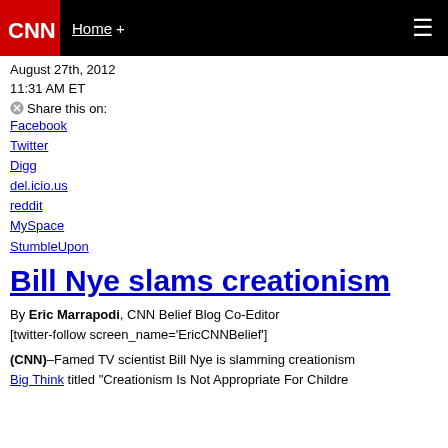CNN — Home +
August 27th, 2012
11:31 AM ET
Share this on:
Facebook
Twitter
Digg
del.icio.us
reddit
MySpace
StumbleUpon
Bill Nye slams creationism
By Eric Marrapodi, CNN Belief Blog Co-Editor
[twitter-follow screen_name='EricCNNBelief']
(CNN)–Famed TV scientist Bill Nye is slamming creationism
Big Think titled "Creationism Is Not Appropriate For Childre